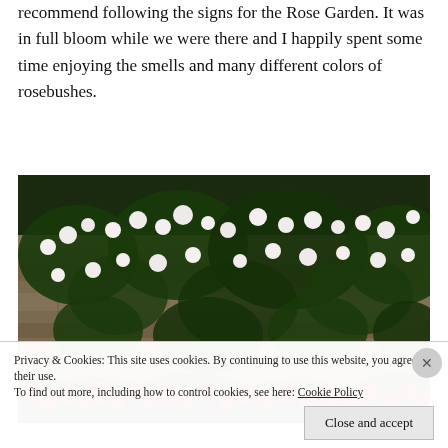recommend following the signs for the Rose Garden. It was in full bloom while we were there and I happily spent some time enjoying the smells and many different colors of rosebushes.
[Figure (photo): A stone wall covered with climbing rose bushes, with white roses on the upper portion and bright red roses blooming at the bottom, with green foliage throughout.]
Privacy & Cookies: This site uses cookies. By continuing to use this website, you agree to their use.
To find out more, including how to control cookies, see here: Cookie Policy